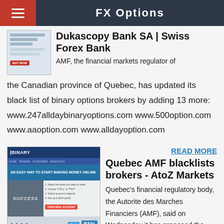FX Options
Dukascopy Bank SA | Swiss Forex Bank
AMF, the financial markets regulator of the Canadian province of Quebec, has updated its black list of binary options brokers by adding 13 more: www.247alldaybinaryoptions.com www.500option.com www.aaoption.com www.alldayoption.com
READ MORE
Quebec AMF blacklists brokers - AtoZ Markets
Quebec's financial regulatory body, the Autorite des Marches Financiers (AMF), said on Wednesday it has proposed the formal prohibition of the sale of binary options to citizens in the province. This makes Quebec the first province in Canada to